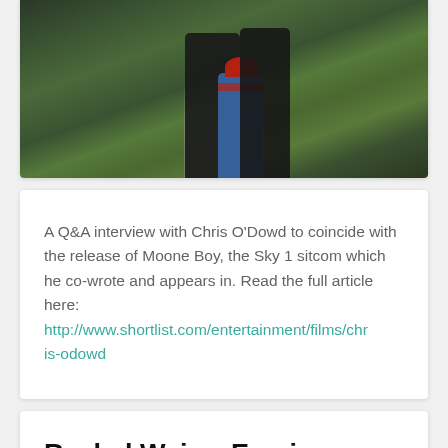[Figure (photo): Photo of a child on a bike with an adult behind them on a path surrounded by greenery. The child wears a red hat and blue jacket.]
A Q&A interview with Chris O'Dowd to coincide with the release of Moone Boy, the Sky 1 sitcom which he co-wrote and appears in. Read the full article here: http://www.shortlist.com/entertainment/films/chris-odowd
Rachel Weisz, Empire
[Figure (photo): Partial photo of Rachel Weisz with a teal/blue background, showing the top of her head with dark wavy hair.]